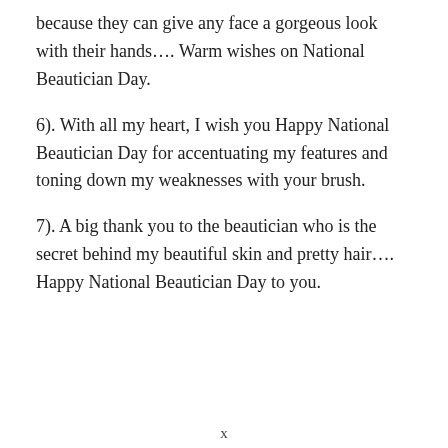because they can give any face a gorgeous look with their hands…. Warm wishes on National Beautician Day.
6). With all my heart, I wish you Happy National Beautician Day for accentuating my features and toning down my weaknesses with your brush.
7). A big thank you to the beautician who is the secret behind my beautiful skin and pretty hair…. Happy National Beautician Day to you.
x